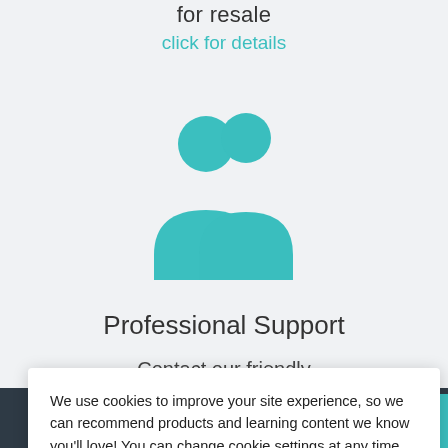for resale
click for details
[Figure (illustration): Teal silhouette icon of two people (a man and a woman) representing professional support team]
Professional Support
Contact our friendly
Customer Support Team
We use cookies to improve your site experience, so we can recommend products and learning content we know you'll love! You can change cookie settings at any time. Are you happy to accept cookies?
Manage Cookie Preferences
Yes I'm Happy
Ask for our advice   TOP